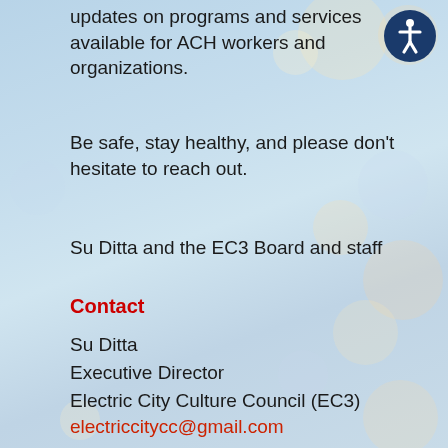updates on programs and services available for ACH workers and organizations.
Be safe, stay healthy, and please don't hesitate to reach out.
Su Ditta and the EC3 Board and staff
Contact
Su Ditta
Executive Director
Electric City Culture Council (EC3)
electriccitycc@gmail.com
www.ecthree.org
705 749 9101